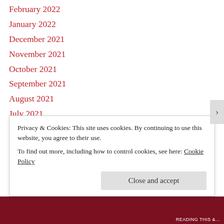February 2022
January 2022
December 2021
November 2021
October 2021
September 2021
August 2021
July 2021
June 2021
May 2021
April 2021
Privacy & Cookies: This site uses cookies. By continuing to use this website, you agree to their use.
To find out more, including how to control cookies, see here: Cookie Policy
Close and accept